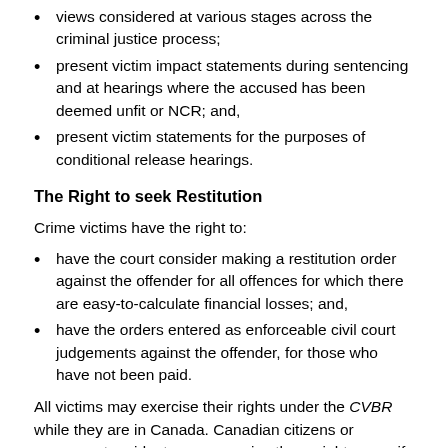views considered at various stages across the criminal justice process;
present victim impact statements during sentencing and at hearings where the accused has been deemed unfit or NCR; and,
present victim statements for the purposes of conditional release hearings.
The Right to seek Restitution
Crime victims have the right to:
have the court consider making a restitution order against the offender for all offences for which there are easy-to-calculate financial losses; and,
have the orders entered as enforceable civil court judgements against the offender, for those who have not been paid.
All victims may exercise their rights under the CVBR while they are in Canada. Canadian citizens or permanent residents may exercise these rights even if they are